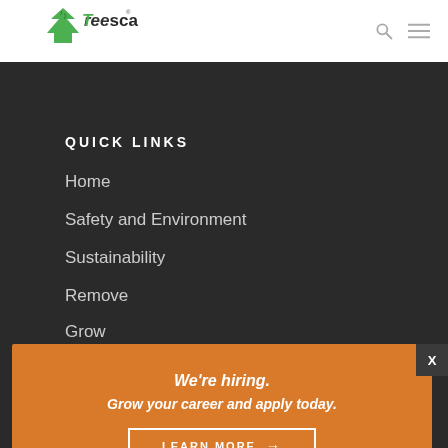[Figure (logo): Treescape logo with green tree icon and wordmark]
QUICK LINKS
Home
Safety and Environment
Sustainability
Remove
Grow
Care
Terms and conditions (Aus / NZ)
Terms and conditions (NZ)
[Figure (infographic): Orange hiring banner overlay with text: We're hiring. Grow your career and apply today. With LEARN MORE button and X close button]
CERTIFICATION